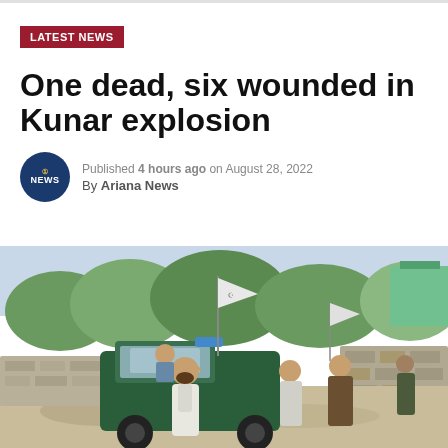LATEST NEWS
One dead, six wounded in Kunar explosion
Published 4 hours ago on August 28, 2022
By Ariana News
[Figure (photo): Armed men and a green pickup truck with Taliban flags on a dusty road with trees and a stone wall in the background, Kunar province, Afghanistan.]